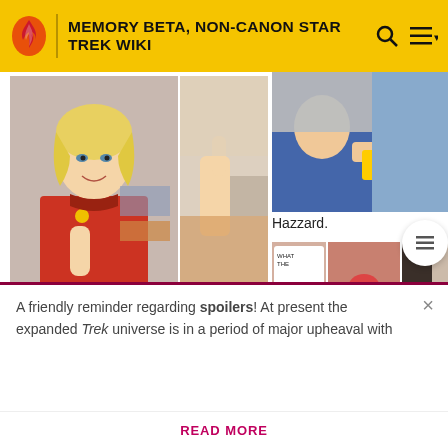MEMORY BETA, NON-CANON STAR TREK WIKI
[Figure (illustration): Two comic panels showing a blonde woman in a red Starfleet uniform]
Liz Sherwood.
[Figure (illustration): Comic panel showing a character receiving something]
Hazzard.
[Figure (illustration): Comic panels showing alien creatures and characters]
[Figure (illustration): Comic panel showing an older man with speech bubble text about memory]
A friendly reminder regarding spoilers! At present the expanded Trek universe is in a period of major upheaval with
READ MORE